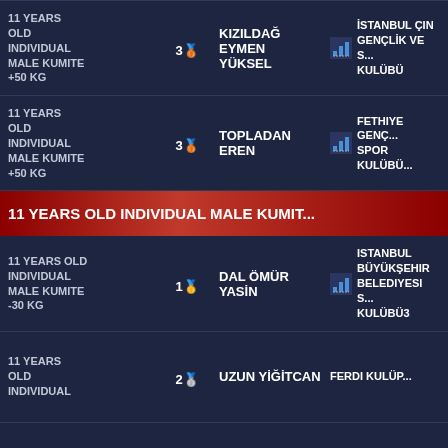11 YEARS OLD INDIVIDUAL MALE KUMITE +50 KG | 3 (bronze) | KIZILDAĞ EYMEN YÜKSEL | İSTANBUL ÇİN GENÇLİK VE S... KULÜBÜ
11 YEARS OLD INDIVIDUAL MALE KUMITE +50 KG | 3 (bronze) | TOPLADAN EREN | FETHIYE GENÇ SPOR KULÜBÜ
11 YEARS OLD INDIVIDUAL MALE KUMITE
11 YEARS OLD INDIVIDUAL MALE KUMITE -30 KG | 1 (gold) | DAL ÖMÜR YASİN | ISTANBUL BÜYÜKŞEHIR BELEDIYESI S... KULÜBÜ3
11 YEARS OLD INDIVIDUAL MALE KUMITE | 2 (silver) | UZUN YİĞİTCAN | FERDI KULÜP